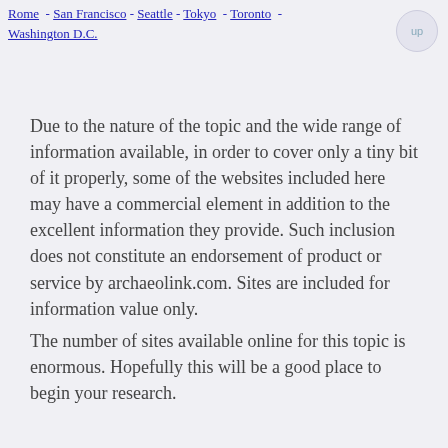Rome - San Francisco - Seattle - Tokyo - Toronto - Washington D.C.
Due to the nature of the topic and the wide range of information available, in order to cover only a tiny bit of it properly, some of the websites included here may have a commercial element in addition to the excellent information they provide.  Such inclusion does not constitute an endorsement of product or service by archaeolink.com.  Sites are included for information value only.
The number of sites available online for this topic is enormous.  Hopefully this will be a good place to begin your research.